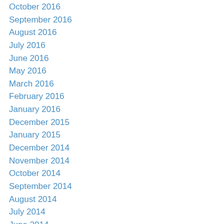October 2016
September 2016
August 2016
July 2016
June 2016
May 2016
March 2016
February 2016
January 2016
December 2015
January 2015
December 2014
November 2014
October 2014
September 2014
August 2014
July 2014
June 2014
May 2014
April 2014